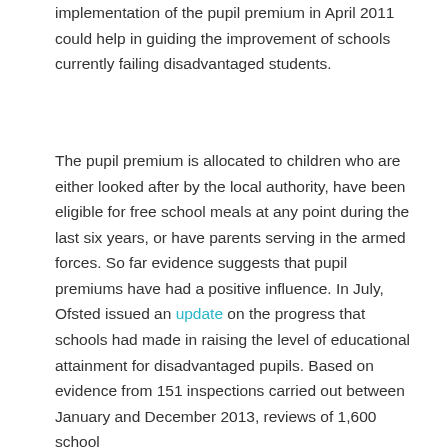implementation of the pupil premium in April 2011 could help in guiding the improvement of schools currently failing disadvantaged students.
The pupil premium is allocated to children who are either looked after by the local authority, have been eligible for free school meals at any point during the last six years, or have parents serving in the armed forces. So far evidence suggests that pupil premiums have had a positive influence. In July, Ofsted issued an update on the progress that schools had made in raising the level of educational attainment for disadvantaged pupils. Based on evidence from 151 inspections carried out between January and December 2013, reviews of 1,600 school